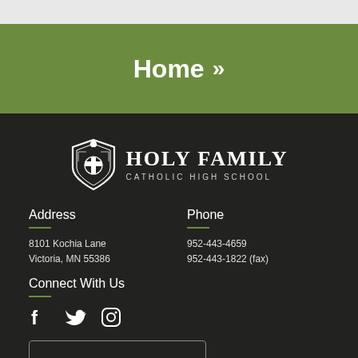Home »
[Figure (logo): Holy Family Catholic High School shield logo with cross and flame, next to text HOLY FAMILY CATHOLIC HIGH SCHOOL]
Address
8101 Kochia Lane
Victoria, MN 55386
Phone
952-443-4659
952-443-1822 (fax)
Connect With Us
[Figure (other): Social media icons: Facebook, Twitter, Instagram]